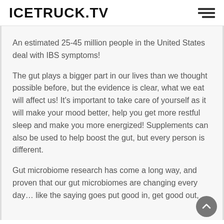ICETRUCK.TV
An estimated 25-45 million people in the United States deal with IBS symptoms!
The gut plays a bigger part in our lives than we thought possible before, but the evidence is clear, what we eat will affect us! It's important to take care of yourself as it will make your mood better, help you get more restful sleep and make you more energized! Supplements can also be used to help boost the gut, but every person is different.
Gut microbiome research has come a long way, and proven that our gut microbiomes are changing every day… like the saying goes put good in, get good out,